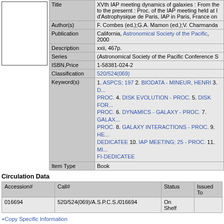[Figure (other): Book cover placeholder box (empty white rectangle with border)]
| Field | Value |
| --- | --- |
| Title | XVth IAP meeting dynamics of galaxies : From the early universe to the present : Proc. of the IAP meeting held at Institut d'Astrophysique de Paris, IAP in Paris, France on |
| Author(s) | F. Combes (ed.);G.A. Mamon (ed.);V. Charmanda |
| Publication | California, Astronomical Society of the Pacific, 2000 |
| Description | xxii, 467p. |
| Series | (Astronomical Society of the Pacific Conference S |
| ISBN,Price | 1-58381-024-2 |
| Classification | 520/524(069) |
| Keyword(s) | 1. ASPCS; 197 2. BIODATA - MINEUR, HENRI 3. D... PROC. 4. DISK EVOLUTION - PROC. 5. DISK FOR... PROC. 6. DYNAMICS - GALAXY - PROC. 7. GALAX... PROC. 8. GALAXY INTERACTIONS - PROC. 9. HE... DEDICATEE 10. IAP MEETING; 25 - PROC. 11. MI... FI-DEDICATEE |
| Item Type | Book |
Circulation Data
| Accession# | Call# | Status | Issued To |
| --- | --- | --- | --- |
| 016694 | 520/524(069)/A.S.P.C.S./016694 | On Shelf |  |
+Copy Specific Information
(page:1 / 1) [#1]